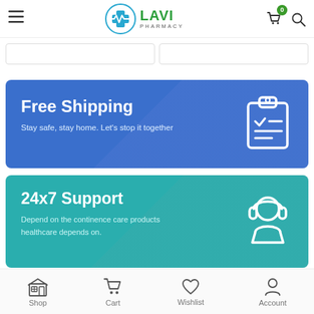LAVI PHARMACY — navigation header with hamburger menu, logo, cart (0), and search
[Figure (screenshot): Partial product card stubs at top of content area]
[Figure (infographic): Free Shipping banner — blue background with clipboard checklist icon. Text: Free Shipping / Stay safe, stay home. Let's stop it together]
[Figure (infographic): 24x7 Support banner — teal background with headset/support agent icon. Text: 24x7 Support / Depend on the continence care products healthcare depends on.]
Shop | Cart | Wishlist | Account